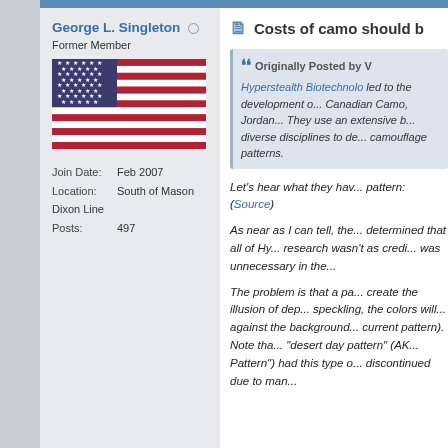Costs of camo should b...
George L. Singleton
Former Member
[Figure (illustration): US flag image]
Join Date: Feb 2007
Location: South of Mason Dixon Line
Posts: 497
Originally Posted by V...
Hyperstealth Biotechnolo... led to the development of... Canadian Camo, Jordan... They use an extensive b... diverse disciplines to dev... camouflage patterns.
Let's hear what they hav... pattern:
(Source)
As near as I can tell, the... determined that all of Hy... research wasn't as credi... was unnecessary in the...
The problem is that a pa... create the illusion of dep... speckling, the colors will... against the background... current pattern). Note tha... "desert day pattern" (AK... Pattern") had this type o... discontinued due to man...